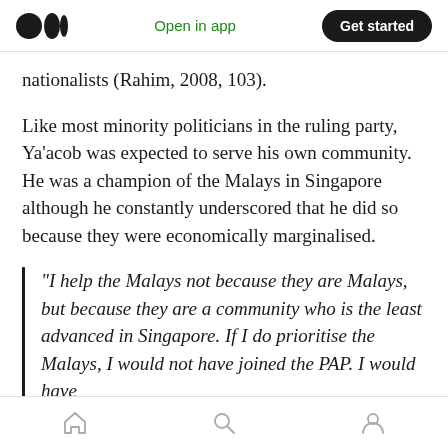Open in app | Get started
nationalists (Rahim, 2008, 103).
Like most minority politicians in the ruling party, Ya'acob was expected to serve his own community. He was a champion of the Malays in Singapore although he constantly underscored that he did so because they were economically marginalised.
“I help the Malays not because they are Malays, but because they are a community who is the least advanced in Singapore. If I do prioritise the Malays, I would not have joined the PAP. I would have
Home | Search | Profile